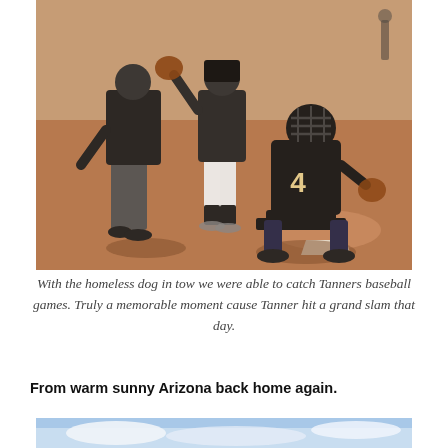[Figure (photo): Baseball scene on a dirt field. An umpire in black leans forward on the left. A pitcher or player in white pants and black top stands center. A catcher wearing number 4 in a black jersey sits on the ground at home plate on the right. Sunny day with reddish-brown dirt infield.]
With the homeless dog in tow we were able to catch Tanners baseball games. Truly a memorable moment cause Tanner hit a grand slam that day.
From warm sunny Arizona back home again.
[Figure (photo): Partial view of a second photo showing a light blue sky with clouds, cropped at the bottom of the page.]